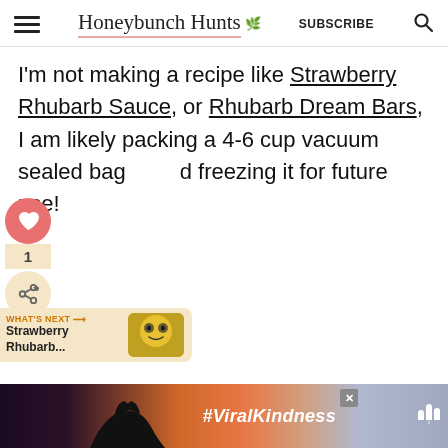Honeybunch Hunts — SUBSCRIBE
I'm not making a recipe like Strawberry Rhubarb Sauce, or Rhubarb Dream Bars, I am likely packing a 4-6 cup vacuum sealed bag and freezing it for future use!
[Figure (screenshot): Social sharing widget with heart icon (1 save) and share button in tan/peach color]
[Figure (screenshot): What's Next widget showing Strawberry Rhubarb... with food thumbnail image]
[Figure (screenshot): Advertisement bar at bottom with heart hands silhouette, #ViralKindness hashtag on dark/sunset gradient background]